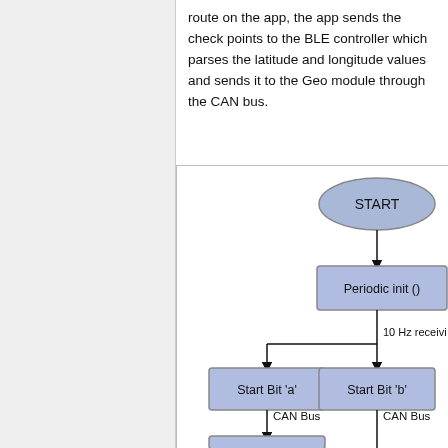route on the app, the app sends the check points to the BLE controller which parses the latitude and longitude values and sends it to the Geo module through the CAN bus.
[Figure (flowchart): Flowchart showing START ellipse leading to 'Periodic init ()' rectangle, then branching left to 'Start Bit a' and right to 'Start Bit b' via '10 Hz receivi...' label, with CAN Bus arrows leading downward from each branch.]